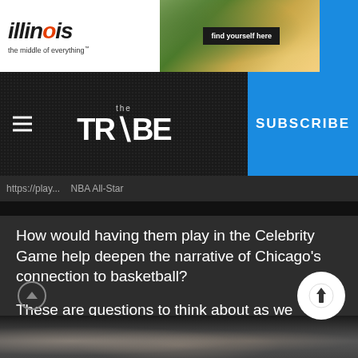[Figure (screenshot): Illinois tourism advertisement banner with logo text 'illinois the middle of everything' and 'find yourself here' button, with a photo of green trees and yellow awning]
[Figure (logo): The TRIBE newspaper/media logo in white on dark grainy background with hamburger menu icon on left and SUBSCRIBE button on right in blue]
How would having them play in the Celebrity Game help deepen the narrative of Chicago's connection to basketball?
These are questions to think about as we continue to share Chicago's story on future world stages.
[Figure (photo): Bottom portion of a photo showing people, partially visible]